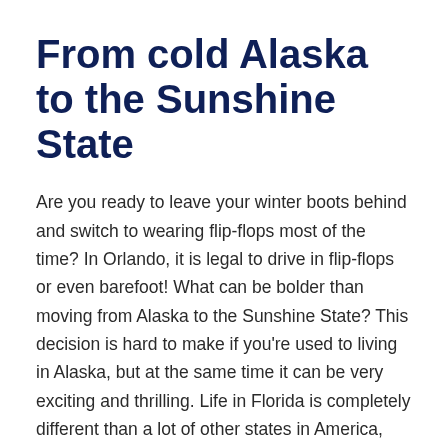From cold Alaska to the Sunshine State
Are you ready to leave your winter boots behind and switch to wearing flip-flops most of the time? In Orlando, it is legal to drive in flip-flops or even barefoot! What can be bolder than moving from Alaska to the Sunshine State? This decision is hard to make if you're used to living in Alaska, but at the same time it can be very exciting and thrilling. Life in Florida is completely different than a lot of other states in America, especially compared to Alaska.
Located in the northwest extremity of North